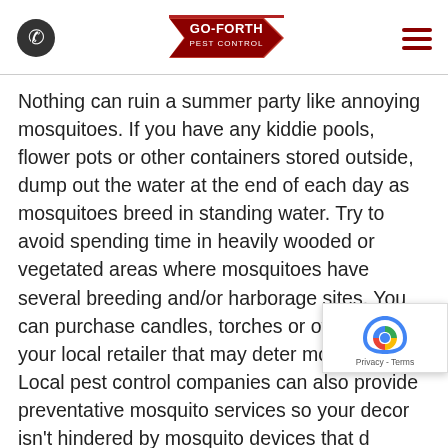Go-Forth Pest Control
Nothing can ruin a summer party like annoying mosquitoes. If you have any kiddie pools, flower pots or other containers stored outside, dump out the water at the end of each day as mosquitoes breed in standing water. Try to avoid spending time in heavily wooded or vegetated areas where mosquitoes have several breeding and/or harborage sites. You can purchase candles, torches or other items at your local retailer that may deter mosquitoes. Local pest control companies can also provide preventative mosquito services so your decor isn't hindered by mosquito devices that don't always work.
Have you ever wondered why it's so difficult to swat a fly? Well, this is because of their quick reaction times and their agility. Just look at all those eyes!